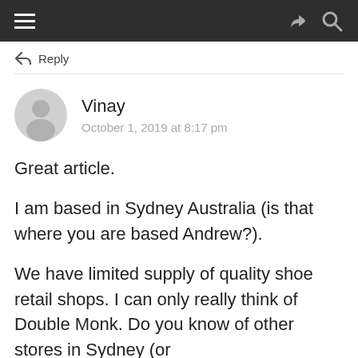≡  ↷  🔍
↩ Reply
Vinay
October 1, 2019 at 8:17 pm
Great article.
I am based in Sydney Australia (is that where you are based Andrew?).
We have limited supply of quality shoe retail shops. I can only really think of Double Monk. Do you know of other stores in Sydney (or